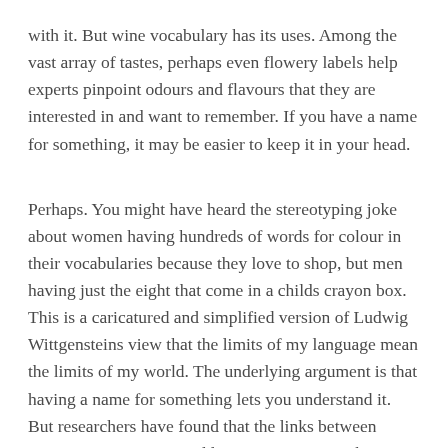with it. But wine vocabulary has its uses. Among the vast array of tastes, perhaps even flowery labels help experts pinpoint odours and flavours that they are interested in and want to remember. If you have a name for something, it may be easier to keep it in your head.
Perhaps. You might have heard the stereotyping joke about women having hundreds of words for colour in their vocabularies because they love to shop, but men having just the eight that come in a childs crayon box. This is a caricatured and simplified version of Ludwig Wittgensteins view that the limits of my language mean the limits of my world. The underlying argument is that having a name for something lets you understand it. But researchers have found that the links between perception, cognition and language turn out to be more complicated than that.